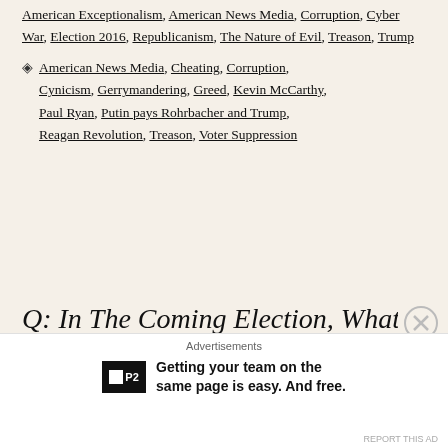American Exceptionalism, American News Media, Corruption, Cyber War, Election 2016, Republicanism, The Nature of Evil, Treason, Trump
Tags: American News Media, Cheating, Corruption, Cynicism, Gerrymandering, Greed, Kevin McCarthy, Paul Ryan, Putin pays Rohrbacher and Trump, Reagan Revolution, Treason, Voter Suppression
Q: In The Coming Election, What
Advertisements
Getting your team on the same page is easy. And free.